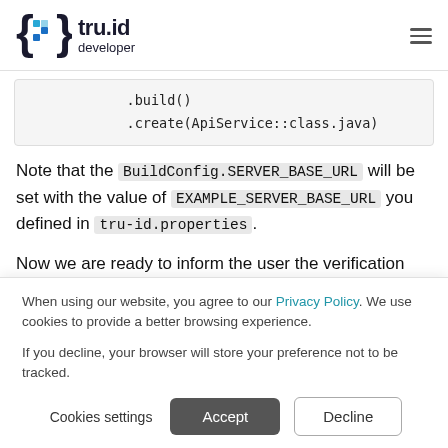tru.id developer
[Figure (screenshot): Code block showing .build() and .create(ApiService::class.java)]
Note that the BuildConfig.SERVER_BASE_URL will be set with the value of EXAMPLE_SERVER_BASE_URL you defined in tru-id.properties.
Now we are ready to inform the user the verification process has started and create the SubscriberCheck using the provided phone number within
When using our website, you agree to our Privacy Policy. We use cookies to provide a better browsing experience.

If you decline, your browser will store your preference not to be tracked.
Cookies settings  Accept  Decline